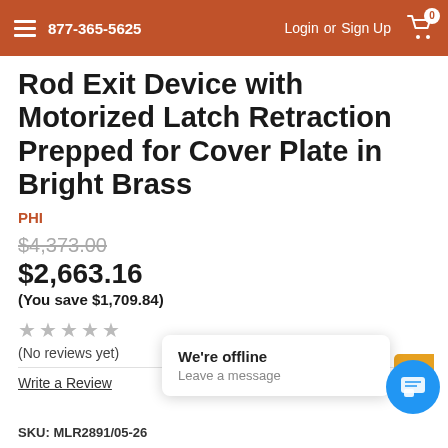877-365-5625  Login or Sign Up  [Cart: 0]
Rod Exit Device with Motorized Latch Retraction Prepped for Cover Plate in Bright Brass
PHI
$4,373.00
$2,663.16
(You save $1,709.84)
★ ★ ★ ★ ★
(No reviews yet)
Write a Review
We're offline
Leave a message
SKU: MLR2891/05-26